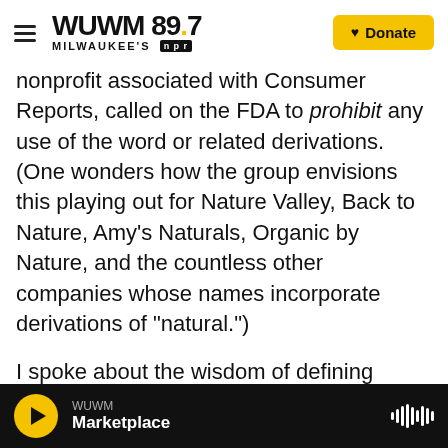WUWM 89.7 MILWAUKEE'S NPR | Donate
nonprofit associated with Consumer Reports, called on the FDA to prohibit any use of the word or related derivations. (One wonders how the group envisions this playing out for Nature Valley, Back to Nature, Amy's Naturals, Organic by Nature, and the countless other companies whose names incorporate derivations of "natural.")
I spoke about the wisdom of defining natural food with Georgetown Law professor and false advertising expert . "My initial reaction is that it's a good idea," she tells me. "People think natural is better than organic, but natural doesn't have a specific meaning. The thought is, if we can get the...
WUWM | Marketplace